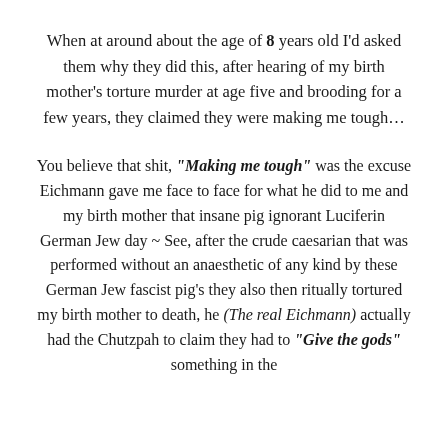When at around about the age of 8 years old I'd asked them why they did this, after hearing of my birth mother's torture murder at age five and brooding for a few years, they claimed they were making me tough...
You believe that shit, "Making me tough" was the excuse Eichmann gave me face to face for what he did to me and my birth mother that insane pig ignorant Luciferin German Jew day ~ See, after the crude caesarian that was performed without an anaesthetic of any kind by these German Jew fascist pig's they also then ritually tortured my birth mother to death, he (The real Eichmann) actually had the Chutzpah to claim they had to "Give the gods" something in the